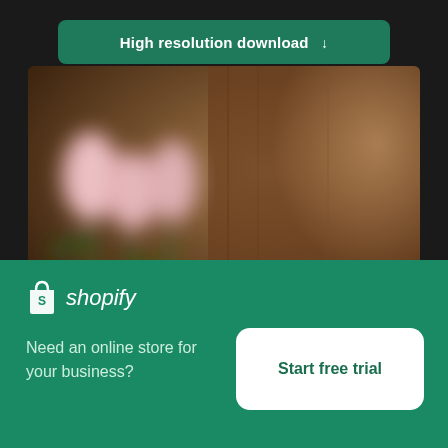[Figure (screenshot): Green rounded button with text 'High resolution download' and a downward arrow icon]
[Figure (photo): Blurred photo of pink flowers (tulips) against a dark brown wooden background. A close button (×) appears in the bottom-right corner of the image.]
[Figure (logo): Shopify logo: white shopping bag icon with 'S' and italic text 'shopify' in white]
Need an online store for your business?
[Figure (other): White rounded rectangle button with green text 'Start free trial']